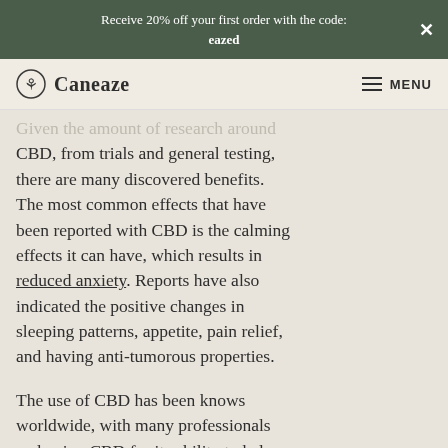Receive 20% off your first order with the code: eazed
Given the amount of research around CBD, from trials and general testing, there are many discovered benefits. The most common effects that have been reported with CBD is the calming effects it can have, which results in reduced anxiety. Reports have also indicated the positive changes in sleeping patterns, appetite, pain relief, and having anti-tumorous properties.
The use of CBD has been knows worldwide, with many professionals endorsing CBD for its ability to help reduce inflammation which occurs